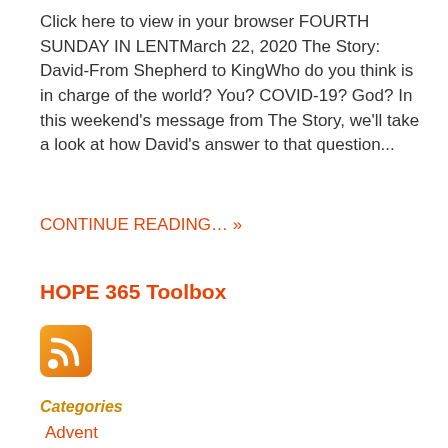Click here to view in your browser FOURTH SUNDAY IN LENTMarch 22, 2020 The Story: David-From Shepherd to KingWho do you think is in charge of the world? You? COVID-19? God? In this weekend’s message from The Story, we’ll take a look at how David’s answer to that question...
CONTINUE READING… »
HOPE 365 Toolbox
[Figure (other): RSS feed icon - orange square with white wifi/RSS signal symbol]
Categories
Advent
Bible
Encouragement